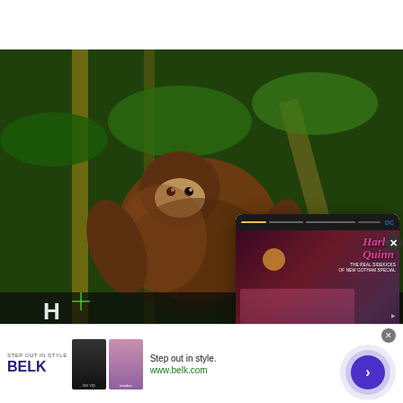[Figure (screenshot): Screenshot of a streaming/media interface showing a monkey/lemur photo in background, overlaid with a popup card for 'Harley Quinn: The Animated Series: The Real Sidekicks of New Gotham' with navigation arrow, and a BELK advertisement banner at bottom]
Harley Quinn: The AnimatedSeries: The
RealSidekicks ofNew Gotham ...
STEP OUT IN STYLE
BELK
Step out in style.
www.belk.com